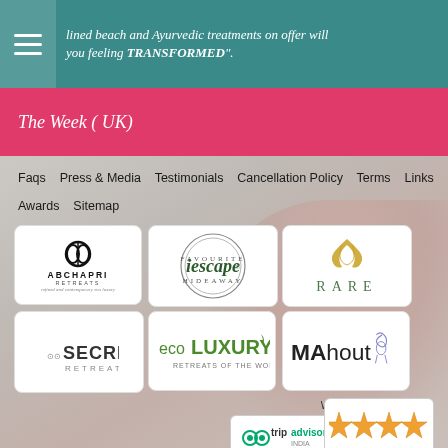...lined beach and Ayurvedic treatments on offer will you feeling TRANSFORMED".
The Week ( UK)
Faqs   Press & Media   Testimonials   Cancellation Policy   Terms   Links   Awards   Sitemap
[Figure (logo): ABCHAPRI RETREATS logo - refined and contemporary eco luxury]
[Figure (logo): iescape FAVOURITE HIDEAWAY circular logo]
[Figure (logo): RARE logo with golden ginkgo leaf]
[Figure (logo): Secret Retreats logo with spiral shell icon]
[Figure (logo): eco LUXURY RETREATS OF THE WORLD logo]
[Figure (logo): MAhout logo with elephant icon]
Website - wickmedia.com
[Figure (logo): TripAdvisor logo badge]
[Figure (logo): Our Awards badge with gold stars]